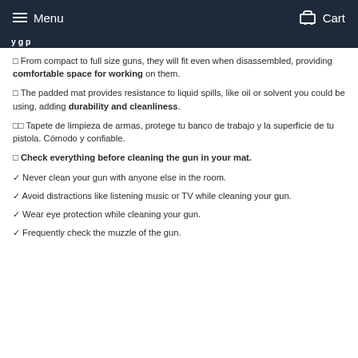Menu | Cart
From compact to full size guns, they will fit even when disassembled, providing comfortable space for working on them.
The padded mat provides resistance to liquid spills, like oil or solvent you could be using, adding durability and cleanliness.
Tapete de limpieza de armas, protege tu banco de trabajo y la superficie de tu pistola. Cómodo y confiable.
Check everything before cleaning the gun in your mat.
Never clean your gun with anyone else in the room.
Avoid distractions like listening music or TV while cleaning your gun.
Wear eye protection while cleaning your gun.
Frequently check the muzzle of the gun.